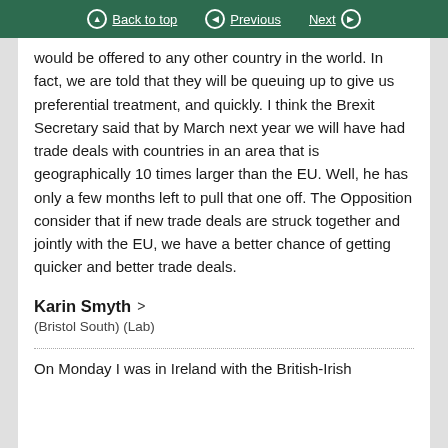Back to top | Previous | Next
would be offered to any other country in the world. In fact, we are told that they will be queuing up to give us preferential treatment, and quickly. I think the Brexit Secretary said that by March next year we will have had trade deals with countries in an area that is geographically 10 times larger than the EU. Well, he has only a few months left to pull that one off. The Opposition consider that if new trade deals are struck together and jointly with the EU, we have a better chance of getting quicker and better trade deals.
Karin Smyth
(Bristol South) (Lab)
On Monday I was in Ireland with the British-Irish